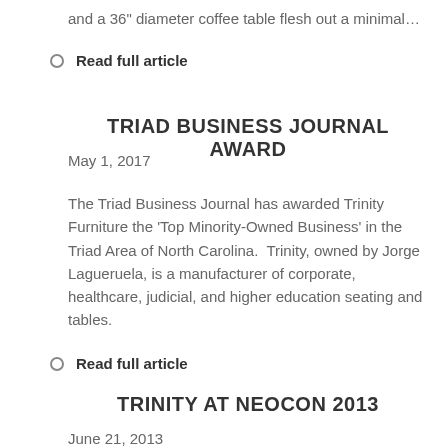and a 36" diameter coffee table flesh out a minimal…
Read full article
TRIAD BUSINESS JOURNAL AWARD
May 1, 2017
The Triad Business Journal has awarded Trinity Furniture the 'Top Minority-Owned Business' in the Triad Area of North Carolina.  Trinity, owned by Jorge Lagueruela, is a manufacturer of corporate, healthcare, judicial, and higher education seating and tables.
Read full article
TRINITY AT NEOCON 2013
June 21, 2013